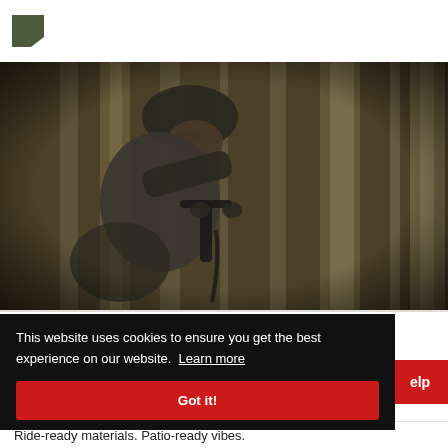[Figure (logo): Small dark green angular logo icon in top left corner]
[Figure (photo): A person wearing a helmet and sunglasses riding a mountain bike through a forest, motion-blurred trees in background, dark moody tones]
This website uses cookies to ensure you get the best experience on our website. Learn more
Got it!
elp
Ride-ready materials. Patio-ready vibes.